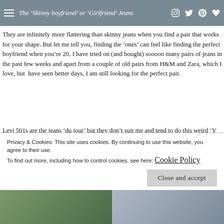The 'Skinny boyfriend' or 'Girlfriend' Jeans
They are infinitely more flattering than skinny jeans when you find a pair that works for your shape. But let me tell you, finding the 'ones' can feel like finding the perfect boyfriend when you're 20. I have tried on (and bought) sooooo many pairs of jeans in the past few weeks and apart from a couple of old pairs from H&M and Zara, which I love, but have seen better days, I am still looking for the perfect pair.
Levi 501s are the jeans 'du jour' but they don't suit me and tend to do this weird 'V pull' thing around the crotch area… A bit like this… (this isn't me by the way, and it was really easy to find an example of wh…
Privacy & Cookies: This site uses cookies. By continuing to use this website, you agree to their use.
To find out more, including how to control cookies, see here: Cookie Policy
Close and accept